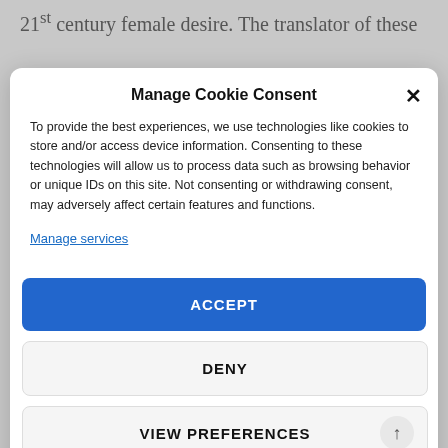21st century female desire. The translator of these
Manage Cookie Consent
To provide the best experiences, we use technologies like cookies to store and/or access device information. Consenting to these technologies will allow us to process data such as browsing behavior or unique IDs on this site. Not consenting or withdrawing consent, may adversely affect certain features and functions.
Manage services
ACCEPT
DENY
VIEW PREFERENCES
Cookie Policy